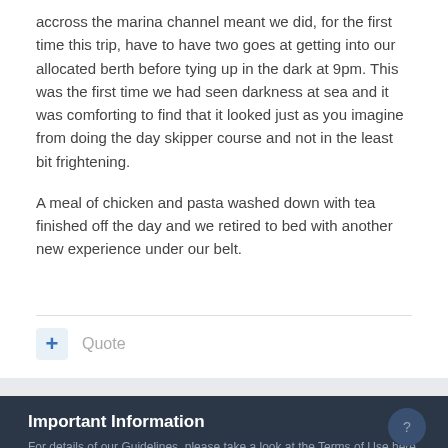accross the marina channel meant we did, for the first time this trip, have to have two goes at getting into our allocated berth before tying up in the dark at 9pm. This was the first time we had seen darkness at sea and it was comforting to find that it looked just as you imagine from doing the day skipper course and not in the least bit frightening.
A meal of chicken and pasta washed down with tea finished off the day and we retired to bed with another new experience under our belt.
+ Quote
Important Information
For details of our Guidelines, please take a look at the Terms of Use here.
✓ I accept